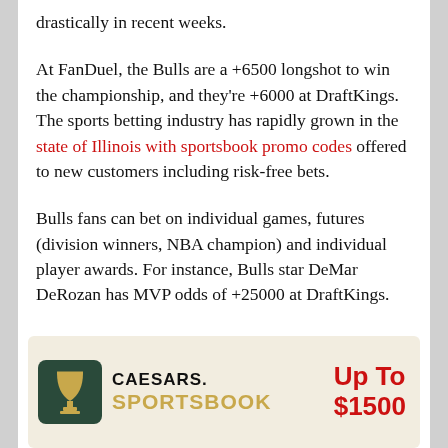drastically in recent weeks.
At FanDuel, the Bulls are a +6500 longshot to win the championship, and they're +6000 at DraftKings. The sports betting industry has rapidly grown in the state of Illinois with sportsbook promo codes offered to new customers including risk-free bets.
Bulls fans can bet on individual games, futures (division winners, NBA champion) and individual player awards. For instance, Bulls star DeMar DeRozan has MVP odds of +25000 at DraftKings.
[Figure (other): Caesars Sportsbook promotional banner showing logo with goblet icon, brand name, and 'Up To $1500' offer in red text]